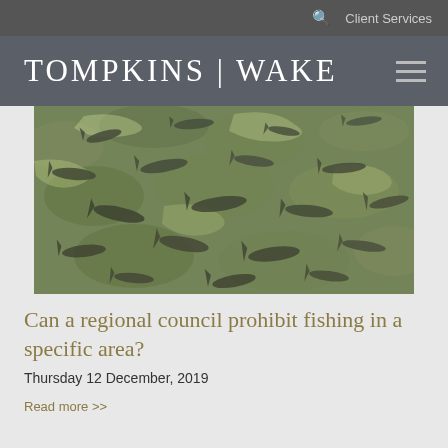Client Services
TOMPKINS | WAKE
[Figure (photo): Aerial view of a school of fish swimming in shallow, clear water over rocky riverbed]
Can a regional council prohibit fishing in a specific area?
Thursday 12 December, 2019
Read more >>